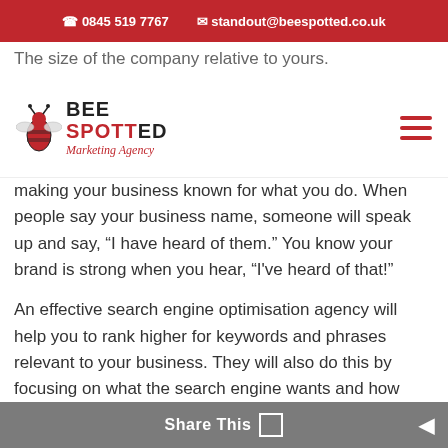0845 519 7767   standout@beespotted.co.uk
The size of the company relative to yours.
[Figure (logo): BeeSpotted Marketing Agency logo with bee icon, bold text BEE SPOTTED and cursive tagline 'Marketing Agency']
making your business known for what you do. When people say your business name, someone will speak up and say, “I have heard of them.” You know your brand is strong when you hear, “I've heard of that!”
An effective search engine optimisation agency will help you to rank higher for keywords and phrases relevant to your business. They will also do this by focusing on what the search engine wants and how human beings want their information presented.
Branding for Google is the same thing. It would help if you had a strong brand that when someone is looking for your services in your area, it is delivered
Share This